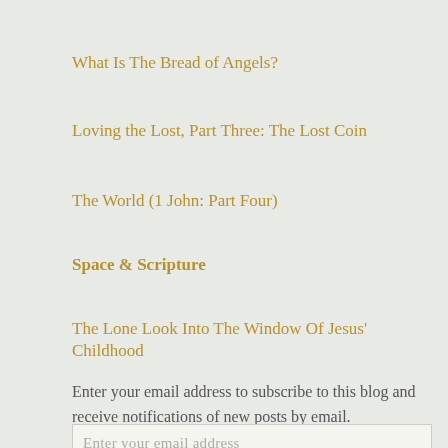What Is The Bread of Angels?
Loving the Lost, Part Three: The Lost Coin
The World (1 John: Part Four)
Space & Scripture
The Lone Look Into The Window Of Jesus' Childhood
Enter your email address to subscribe to this blog and receive notifications of new posts by email.
Enter your email address